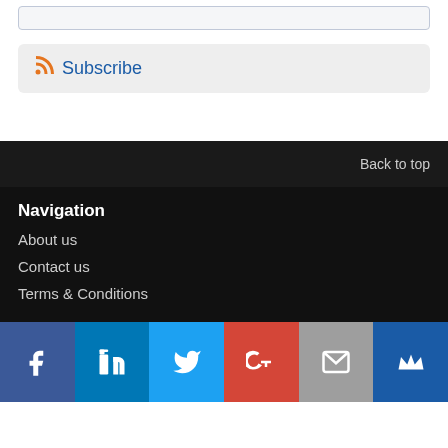[Figure (other): Search input box with light border on grey background]
Subscribe
Back to top
Navigation
About us
Contact us
Terms & Conditions
[Figure (other): Social media icon bar: Facebook, LinkedIn, Twitter, Google+, Email, Mailing list icons]